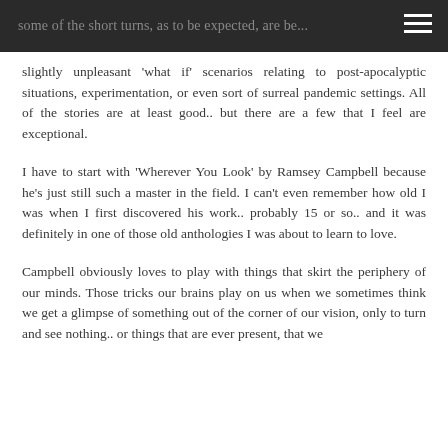some of the short turns, as to be expected, are be...
slightly unpleasant 'what if' scenarios relating to post-apocalyptic situations, experimentation, or even sort of surreal pandemic settings. All of the stories are at least good.. but there are a few that I feel are exceptional.
I have to start with 'Wherever You Look' by Ramsey Campbell because he's just still such a master in the field. I can't even remember how old I was when I first discovered his work.. probably 15 or so.. and it was definitely in one of those old anthologies I was about to learn to love.
Campbell obviously loves to play with things that skirt the periphery of our minds. Those tricks our brains play on us when we sometimes think we get a glimpse of something out of the corner of our vision, only to turn and see nothing.. or things that are ever present, that we